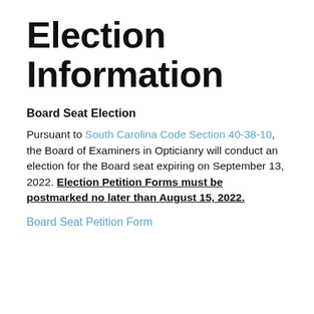Election Information
Board Seat Election
Pursuant to South Carolina Code Section 40-38-10, the Board of Examiners in Opticianry will conduct an election for the Board seat expiring on September 13, 2022. Election Petition Forms must be postmarked no later than August 15, 2022.
Board Seat Petition Form